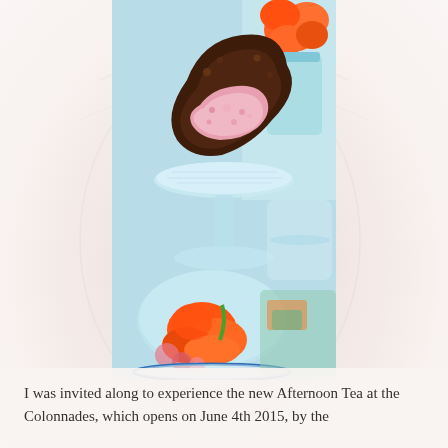[Figure (photo): A photo of an afternoon tea display: a chocolate dessert with pink filling on a crystal cake stand, orange flowers in a glass vase, and a glass cloche covering more orange flowers and sweets. The background shows a faint face watermark on a light pink/white background.]
I was invited along to experience the new Afternoon Tea at the Colonnades, which opens on June 4th 2015, by the